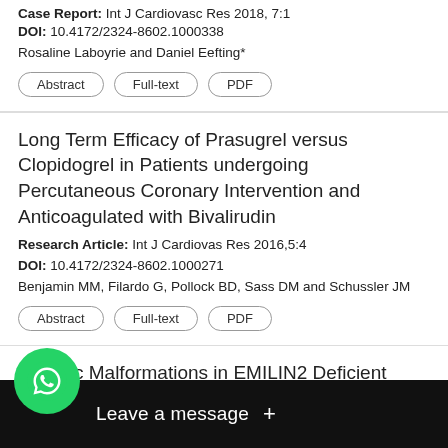Case Report: Int J Cardiovasc Res 2018, 7:1
DOI: 10.4172/2324-8602.1000338
Rosaline Laboyrie and Daniel Eefting*
Abstract | Full-text | PDF
Long Term Efficacy of Prasugrel versus Clopidogrel in Patients undergoing Percutaneous Coronary Intervention and Anticoagulated with Bivalirudin
Research Article: Int J Cardiovas Res 2016,5:4
DOI: 10.4172/2324-8602.1000271
Benjamin MM, Filardo G, Pollock BD, Sass DM and Schussler JM
Abstract | Full-text | PDF
Cardiac Malformations in EMILIN2 Deficient
Research Article: Int J Cardiovas Res 2016,5:5
Anur...
[Figure (screenshot): WhatsApp chat widget overlay at bottom of screen with green WhatsApp icon and 'Leave a message +' dark bar]